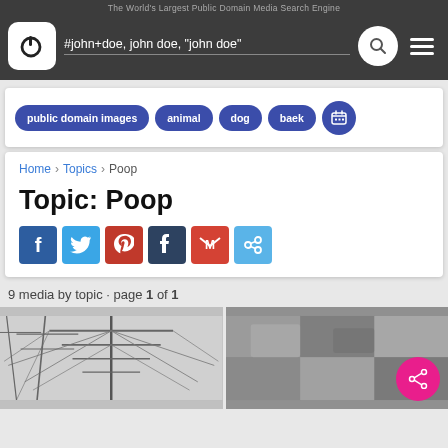The World's Largest Public Domain Media Search Engine
#john+doe, john doe, "john doe"
public domain images  animal  dog  baek
Home > Topics > Poop
Topic: Poop
9 media by topic · page 1 of 1
[Figure (photo): Black and white photo of a sailing ship mast and rigging]
[Figure (photo): Blurred grayscale photo, partially visible]